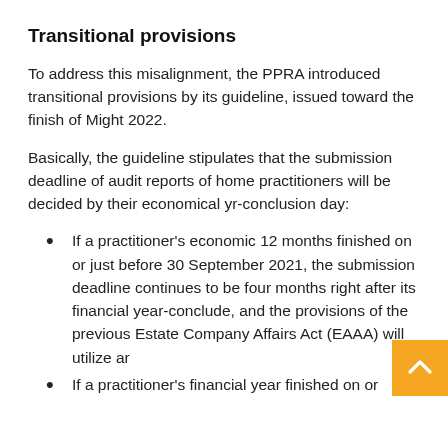Transitional provisions
To address this misalignment, the PPRA introduced transitional provisions by its guideline, issued toward the finish of Might 2022.
Basically, the guideline stipulates that the submission deadline of audit reports of home practitioners will be decided by their economical yr-conclusion day:
If a practitioner’s economic 12 months finished on or just before 30 September 2021, the submission deadline continues to be four months right after its financial year-conclude, and the provisions of the previous Estate Company Affairs Act (EAAA) will utilize an
If a practitioner’s financial year finished on or